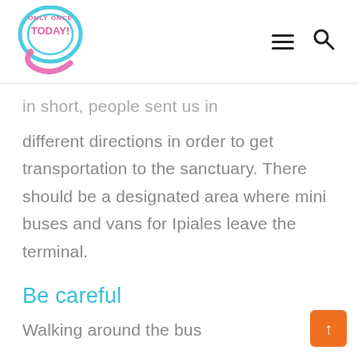Only Once Today logo with hamburger menu and search icon
in short, people sent us in different directions in order to get transportation to the sanctuary. There should be a designated area where mini buses and vans for Ipiales leave the terminal.
Be careful
Walking around the bus